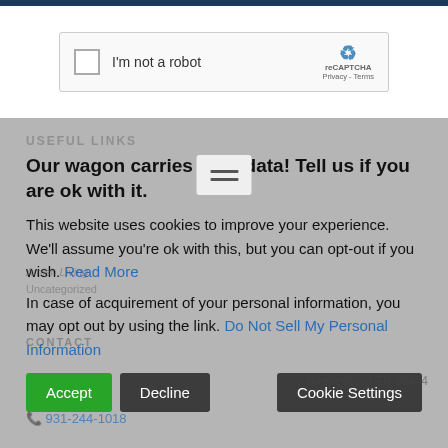[Figure (screenshot): reCAPTCHA widget with checkbox labeled 'I'm not a robot' and reCAPTCHA logo with Privacy and Terms links]
Our wagon carries your data! Tell us if you are ok with it.
This website uses cookies to improve your experience. We'll assume you're ok with this, but you can opt-out if you wish. Read More
In case of acquirement of your personal information, you may opt out by using the link. Do Not Sell My Personal Information
Accept | Decline | Cookie Settings
CONTACT
lwrenceburg TN 38464
931-244-1018